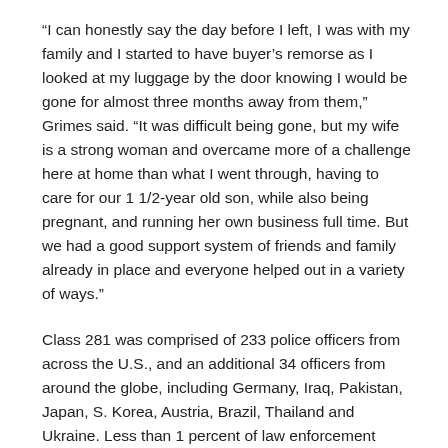“I can honestly say the day before I left, I was with my family and I started to have buyer’s remorse as I looked at my luggage by the door knowing I would be gone for almost three months away from them,” Grimes said. “It was difficult being gone, but my wife is a strong woman and overcame more of a challenge here at home than what I went through, having to care for our 1 1/2-year old son, while also being pregnant, and running her own business full time. But we had a good support system of friends and family already in place and everyone helped out in a variety of ways.”
Class 281 was comprised of 233 police officers from across the U.S., and an additional 34 officers from around the globe, including Germany, Iraq, Pakistan, Japan, S. Korea, Austria, Brazil, Thailand and Ukraine. Less than 1 percent of law enforcement officers in the U.S. are selected to attend the prestigious professional development course.